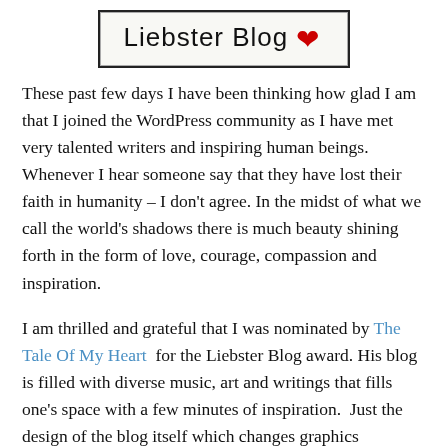[Figure (logo): Liebster Blog logo with a red heart, black border box on light background]
These past few days I have been thinking how glad I am that I joined the WordPress community as I have met very talented writers and inspiring human beings. Whenever I hear someone say that they have lost their faith in humanity – I don't agree. In the midst of what we call the world's shadows there is much beauty shining forth in the form of love, courage, compassion and inspiration.
I am thrilled and grateful that I was nominated by The Tale Of My Heart  for the Liebster Blog award. His blog is filled with diverse music, art and writings that fills one's space with a few minutes of inspiration.  Just the design of the blog itself which changes graphics everyday is a visual